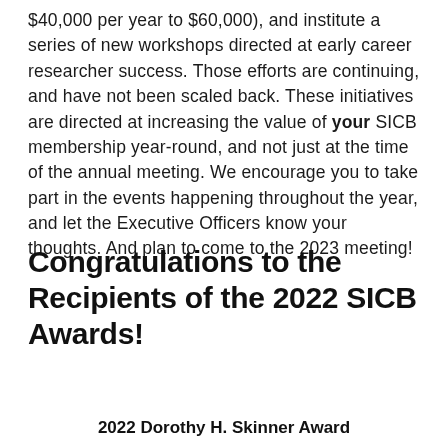$40,000 per year to $60,000), and institute a series of new workshops directed at early career researcher success. Those efforts are continuing, and have not been scaled back. These initiatives are directed at increasing the value of your SICB membership year-round, and not just at the time of the annual meeting. We encourage you to take part in the events happening throughout the year, and let the Executive Officers know your thoughts. And plan to come to the 2023 meeting!
Congratulations to the Recipients of the 2022 SICB Awards!
2022 Dorothy H. Skinner Award